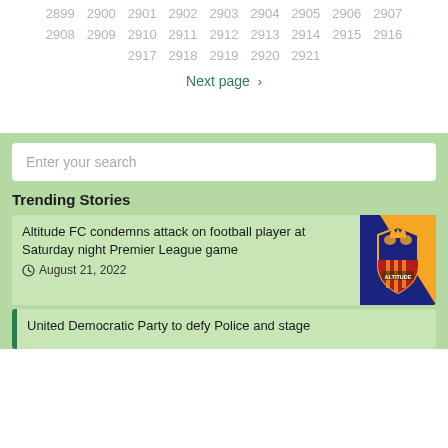2899 2900 2901 2902 2903 2904 2905 2906 2907
2908 2909 2910 2911 2912 2913 2914 2915 2916
2917 2918 2919 2920 2921
Next page ›
Enter your search
Trending Stories
Altitude FC condemns attack on football player at Saturday night Premier League game
August 21, 2022
United Democratic Party to defy Police and stage